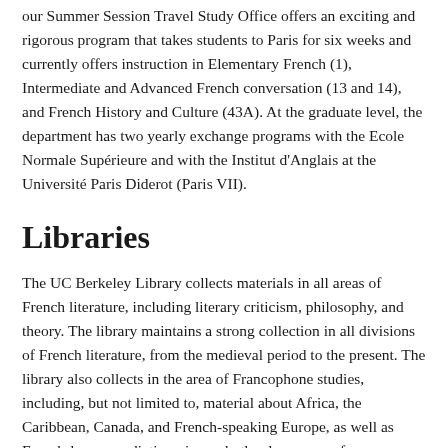our Summer Session Travel Study Office offers an exciting and rigorous program that takes students to Paris for six weeks and currently offers instruction in Elementary French (1), Intermediate and Advanced French conversation (13 and 14), and French History and Culture (43A). At the graduate level, the department has two yearly exchange programs with the Ecole Normale Supérieure and with the Institut d'Anglais at the Université Paris Diderot (Paris VII).
Libraries
The UC Berkeley Library collects materials in all areas of French literature, including literary criticism, philosophy, and theory. The library maintains a strong collection in all divisions of French literature, from the medieval period to the present. The library also collects in the area of Francophone studies, including, but not limited to, material about Africa, the Caribbean, Canada, and French-speaking Europe, as well as French-language dictionaries and other language reference material. The French collection is limited to materials primarily published in France. Materials on French subjects published outside France are listed with their